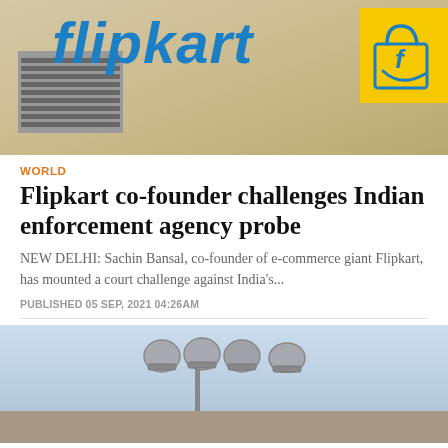[Figure (photo): Exterior of a Flipkart building showing the blue Flipkart logo text and yellow Flipkart shopping bag logo sign on a beige/tan building facade with ventilation grilles]
WORLD
Flipkart co-founder challenges Indian enforcement agency probe
NEW DELHI: Sachin Bansal, co-founder of e-commerce giant Flipkart, has mounted a court challenge against India's...
PUBLISHED 05 SEP, 2021 04:26AM
[Figure (photo): Exterior building roofline with satellite/CCTV dome cameras mounted on a pole against a light blue sky]